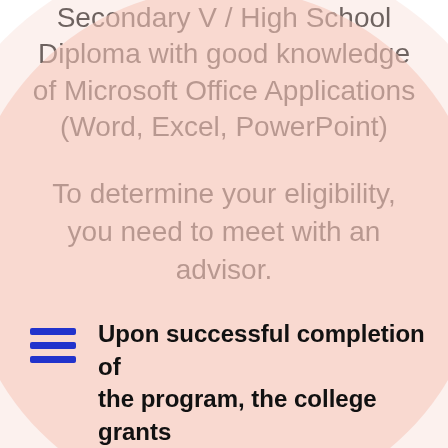Secondary V / High School Diploma with good knowledge of Microsoft Office Applications (Word, Excel, PowerPoint)
To determine your eligibility, you need to meet with an advisor.
[Figure (illustration): Decorative large pink/salmon circular shape in the lower half of the page with a lighter outer ring]
Upon successful completion of the program, the college grants